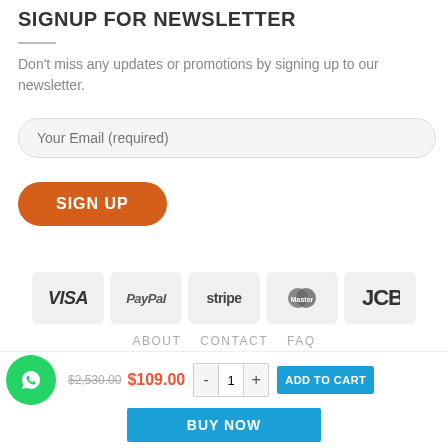SIGNUP FOR NEWSLETTER
Don't miss any updates or promotions by signing up to our newsletter.
Your Email (required)
SIGN UP
[Figure (logo): Payment method logos: VISA, PayPal, stripe, MasterCard, JCB]
ABOUT   CONTACT   FAQ
Copyright 2022 © Luxury Kelly Shop
$2,530.00  $109.00  -  1  +  ADD TO CART
BUY NOW